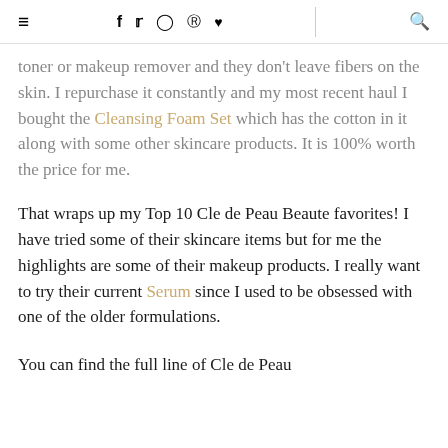≡  f  𝕥  ○  ⓟ  ♥  | 🔍
toner or makeup remover and they don't leave fibers on the skin. I repurchase it constantly and my most recent haul I bought the Cleansing Foam Set which has the cotton in it along with some other skincare products. It is 100% worth the price for me.
That wraps up my Top 10 Cle de Peau Beaute favorites! I have tried some of their skincare items but for me the highlights are some of their makeup products. I really want to try their current Serum since I used to be obsessed with one of the older formulations.
You can find the full line of Cle de Peau